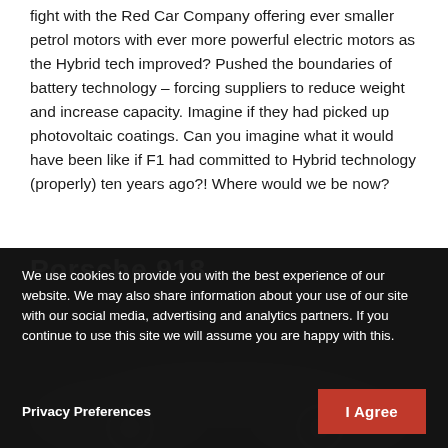fight with the Red Car Company offering ever smaller petrol motors with ever more powerful electric motors as the Hybrid tech improved? Pushed the boundaries of battery technology – forcing suppliers to reduce weight and increase capacity. Imagine if they had picked up photovoltaic coatings. Can you imagine what it would have been like if F1 had committed to Hybrid technology (properly) ten years ago?! Where would we be now?
[Figure (screenshot): Dark background section showing partial 'Porsche 918' heading with a cookie consent overlay banner containing privacy text and buttons]
We use cookies to provide you with the best experience of our website. We may also share information about your use of our site with our social media, advertising and analytics partners. If you continue to use this site we will assume you are happy with this.
Privacy Preferences
I Agree